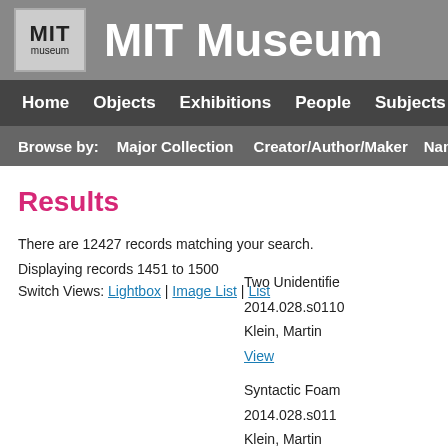MIT Museum
Home | Objects | Exhibitions | People | Subjects | Sites
Browse by: Major Collection | Creator/Author/Maker | Nam
Results
There are 12427 records matching your search.
Displaying records 1451 to 1500
Switch Views: Lightbox | Image List | List
Two Unidentifie
2014.028.s0110
Klein, Martin
View
Syntactic Foam
2014.028.s011
Klein, Martin